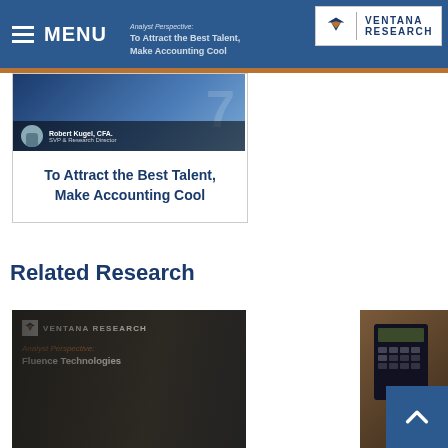≡ MENU | Ventana Research — Analyst Perspective: To Attract the Best Talent, Make Accounting Cool
[Figure (photo): Article thumbnail image showing dark blue background with Robert Kugel, CFA, SVP & Research Director author credit]
To Attract the Best Talent, Make Accounting Cool
Related Research
[Figure (photo): Related research thumbnail showing Ventana Research logo, calculator and glasses, with caption: Analyst Perspective: Fluence Technologies]